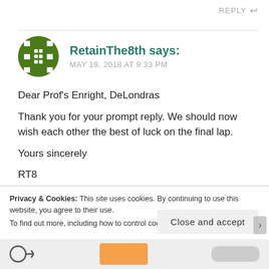REPLY ↩
RetainThe8th says: MAY 19, 2018 AT 9:33 PM
Dear Prof's Enright, DeLondras
Thank you for your prompt reply. We should now wish each other the best of luck on the final lap.
Yours sincerely
RT8
Privacy & Cookies: This site uses cookies. By continuing to use this website, you agree to their use.
To find out more, including how to control cookies, see here: Cookie Policy
Close and accept